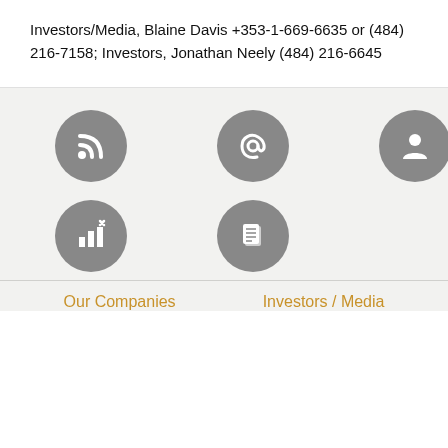Investors/Media, Blaine Davis +353-1-669-6635 or (484) 216-7158; Investors, Jonathan Neely (484) 216-6645
[Figure (infographic): Five grey circular icon buttons in a 3+2 grid layout. Top row: RSS feed icon, at-sign email icon, person/profile icon. Bottom row: bar chart with arrow icon, document/pages icon.]
Our Companies
Investors / Media